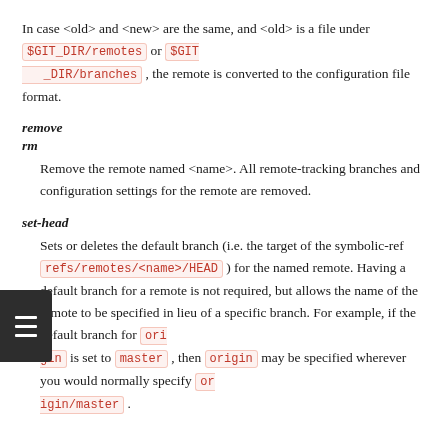In case <old> and <new> are the same, and <old> is a file under $GIT_DIR/remotes or $GIT_DIR/branches , the remote is converted to the configuration file format.
remove
rm
Remove the remote named <name>. All remote-tracking branches and configuration settings for the remote are removed.
set-head
Sets or deletes the default branch (i.e. the target of the symbolic-ref refs/remotes/<name>/HEAD ) for the named remote. Having a default branch for a remote is not required, but allows the name of the remote to be specified in lieu of a specific branch. For example, if the default branch for origin is set to master , then origin may be specified wherever you would normally specify origin/master .